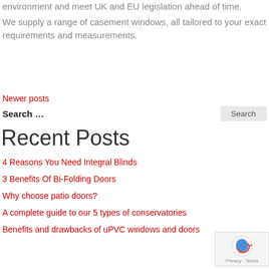environment and meet UK and EU legislation ahead of time.
We supply a range of casement windows, all tailored to your exact requirements and measurements.
Newer posts
Search ...
Recent Posts
4 Reasons You Need Integral Blinds
3 Benefits Of Bi-Folding Doors
Why choose patio doors?
A complete guide to our 5 types of conservatories
Benefits and drawbacks of uPVC windows and doors